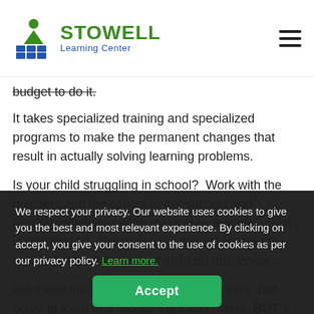Stowell Learning Center
budget to do it.
It takes specialized training and specialized programs to make the permanent changes that result in actually solving learning problems.
Is your child struggling in school?  Work with the teachers and the school to get support and accommodations and to make sure that your child is understood.  Get strategies from teachers for how to best work with your child on homework.
But these things are helpful and supportive, but serve to learn in a regular education class. BUT it takes understanding and developing the underlying learning/processing skills at the root of the problem.
We respect your privacy. Our website uses cookies to give you the best and most relevant experience. By clicking on accept, you give your consent to the use of cookies as per our privacy policy. Learn more.